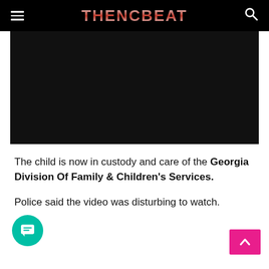THENCBEAT
[Figure (other): Dark/black video thumbnail placeholder]
The child is now in custody and care of the Georgia Division Of Family & Children's Services.
Police said the video was disturbing to watch.